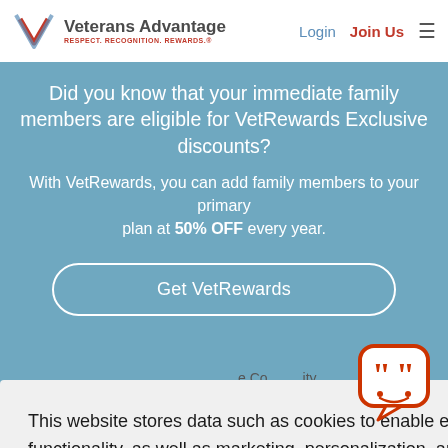Veterans Advantage RESPECT. RECOGNITION. REWARDS. | Login | Join Us
Did you know that your immediate family members are eligible for VetRewards Exclusive discounts?
With VetRewards, you can add family members to your primary plan at 50% OFF every year.
Get VetRewards
This website stores data such as cookies to enable essential site functionality, as well as marketing, personalization, and analytics. By remaining on this website you indicate your consent.
Privacy Policy